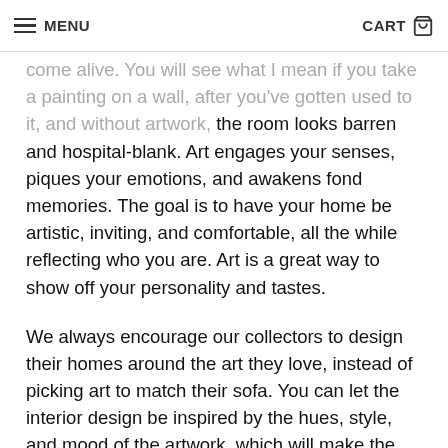MENU | CART
come alive. You will see what I mean if you take a painting on a wall, after you've gotten used to it, and without artwork, the room looks barren and hospital-blank. Art engages your senses, piques your emotions, and awakens fond memories. The goal is to have your home be artistic, inviting, and comfortable, all the while reflecting who you are. Art is a great way to show off your personality and tastes.
We always encourage our collectors to design their homes around the art they love, instead of picking art to match their sofa. You can let the interior design be inspired by the hues, style, and mood of the artwork, which will make the room look beautifully planned.
How important is lighting when hanging art in the home, and as a gallerist what are some tips you could offer on this?
Lighting is very important to make the artwork appear the way the artist intended it to be seen. If you think about it, most house lighting is directed at the floors (not the walls)